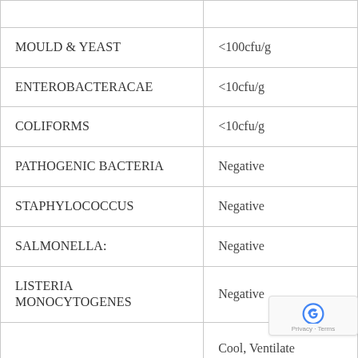|  |  |
| MOULD & YEAST | <100cfu/g |
| ENTEROBACTERACAE | <10cfu/g |
| COLIFORMS | <10cfu/g |
| PATHOGENIC BACTERIA | Negative |
| STAPHYLOCOCCUS | Negative |
| SALMONELLA: | Negative |
| LISTERIA MONOCYTOGENES | Negative |
| STORAGE | Cool, Ventilate & Dry, HR< T<25°C |
|  |  |